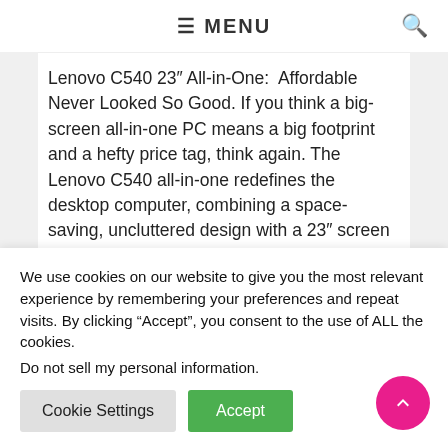≡ MENU
Lenovo C540 23″ All-in-One: Affordable Never Looked So Good. If you think a big-screen all-in-one PC means a big footprint and a hefty price tag, think again. The Lenovo C540 all-in-one redefines the desktop computer, combining a space-saving, uncluttered design with a 23″ screen and a range of family-friendly features — all at a surprisingly
We use cookies on our website to give you the most relevant experience by remembering your preferences and repeat visits. By clicking “Accept”, you consent to the use of ALL the cookies.
Do not sell my personal information.